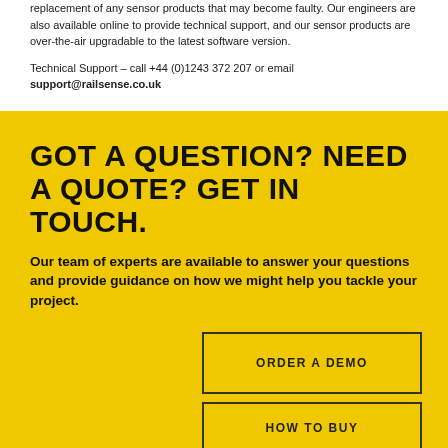replacement of any sensor products that may become faulty. Our engineers are also available online to provide technical support, and our sensor products are over-the-air upgradable to the latest software version.
Technical Support – call +44 (0)1243 372 207 or email support@railsense.co.uk
GOT A QUESTION? NEED A QUOTE? GET IN TOUCH.
Our team of experts are available to answer your questions and provide guidance on how we might help you tackle your project.
ORDER A DEMO
HOW TO BUY